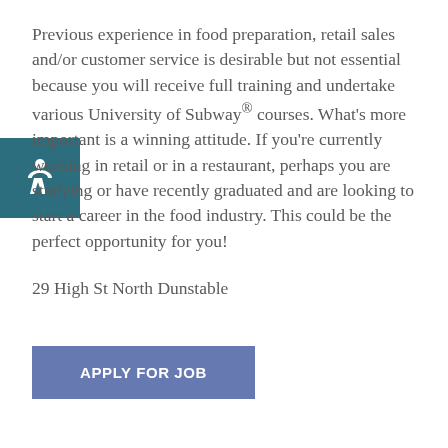Previous experience in food preparation, retail sales and/or customer service is desirable but not essential because you will receive full training and undertake various University of Subway® courses. What's more important is a winning attitude. If you're currently working in retail or in a restaurant, perhaps you are studying or have recently graduated and are looking to start a career in the food industry. This could be the perfect opportunity for you!
29 High St North Dunstable
APPLY FOR JOB